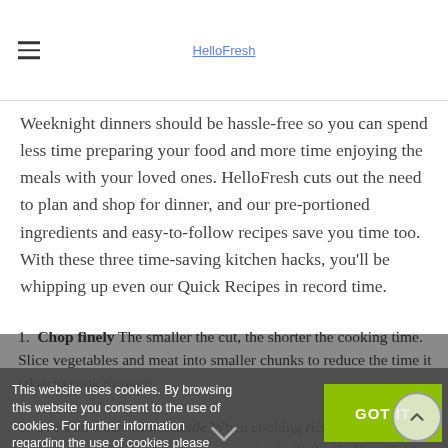HelloFresh
Weeknight dinners should be hassle-free so you can spend less time preparing your food and more time enjoying the meals with your loved ones. HelloFresh cuts out the need to plan and shop for dinner, and our pre-portioned ingredients and easy-to-follow recipes save you time too. With these three time-saving kitchen hacks, you'll be whipping up even our Quick Recipes in record time.
Chop finely The smaller the cut, the shorter the cooking time. Slice vegetables and meat into smaller chunks to reduce the time it takes to cook through.
Pre-boil water in the kettle When cooking rice, pasta or boiled veggies be sure to boil the cooking water in the kettle first. Cold water can
This website uses cookies. By browsing this website you consent to the use of cookies. For further information regarding the use of cookies please access our data protection declaration.